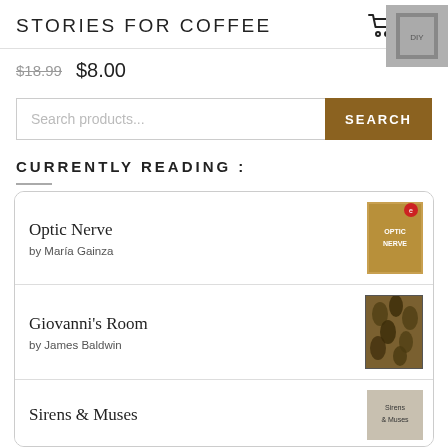STORIES FOR COFFEE
$18.99  $8.00
Search products...  SEARCH
CURRENTLY READING :
Optic Nerve by María Gainza
Giovanni's Room by James Baldwin
Sirens & Muses